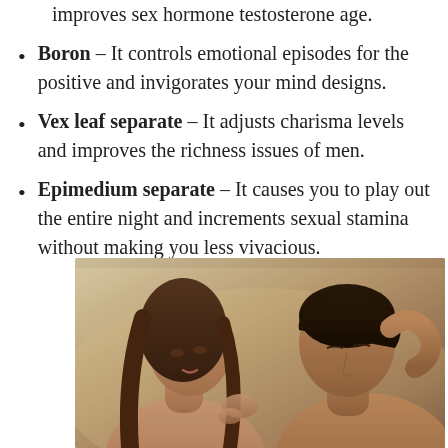improves sex hormone testosterone age.
Boron – It controls emotional episodes for the positive and invigorates your mind designs.
Vex leaf separate – It adjusts charisma levels and improves the richness issues of men.
Epimedium separate – It causes you to play out the entire night and increments sexual stamina without making you less vivacious.
[Figure (photo): A couple in an intimate moment, woman leaning in to kiss a man who has his eyes closed with his hand behind his head, warm golden/sepia tone background.]